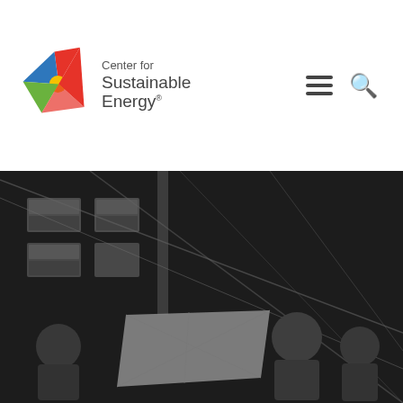[Figure (logo): Center for Sustainable Energy logo — colorful pinwheel/star shape with four colored blades (red, blue, yellow, green) beside the text 'Center for Sustainable Energy®']
[Figure (photo): Dark greyscale photo of workers/technicians installing or working on solar panels or energy equipment indoors, with visible wiring and equipment boxes]